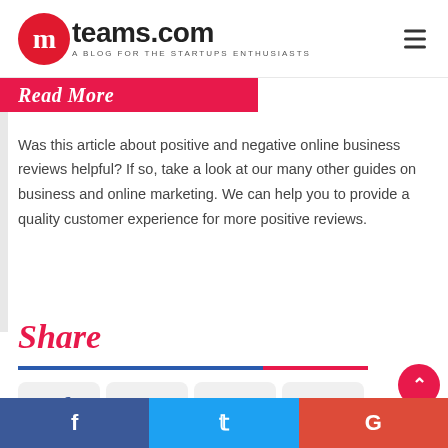mteams.com — A Blog for the Startups Enthusiasts
Read More
Was this article about positive and negative online business reviews helpful? If so, take a look at our many other guides on business and online marketing. We can help you to provide a quality customer experience for more positive reviews.
Share